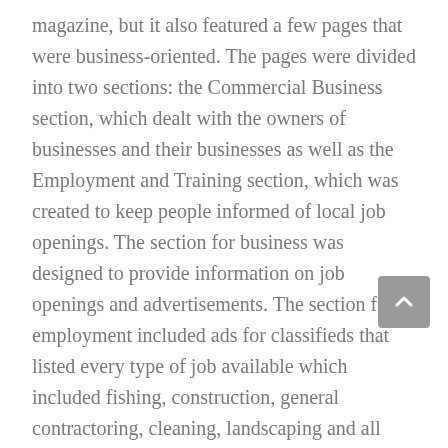magazine, but it also featured a few pages that were business-oriented. The pages were divided into two sections: the Commercial Business section, which dealt with the owners of businesses and their businesses as well as the Employment and Training section, which was created to keep people informed of local job openings. The section for business was designed to provide information on job openings and advertisements. The section for employment included ads for classifieds that listed every type of job available which included fishing, construction, general contractoring, cleaning, landscaping and all other trades. You could also find the listings of employers seeking workers, as well as a directory that lists the phone numbers and names of companies.
Island News Digest published the Kenai Peninsula News, a magazine that included local content. It focused on the Kenai Peninsula, and covered everything from tourism and travel to arts and culture. Unlike the Peninsula News, which was